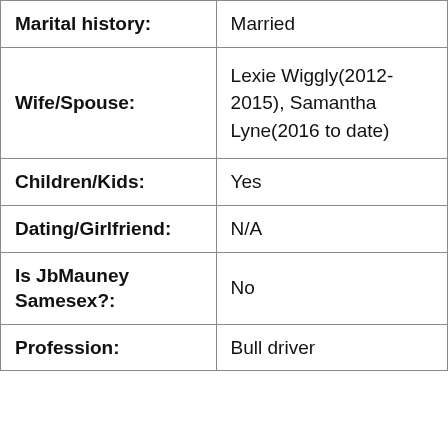| Field | Value |
| --- | --- |
| Marital history: | Married |
| Wife/Spouse: | Lexie Wiggly(2012-2015), Samantha Lyne(2016 to date) |
| Children/Kids: | Yes |
| Dating/Girlfriend: | N/A |
| Is JbMauney Samesex?: | No |
| Profession: | Bull driver |